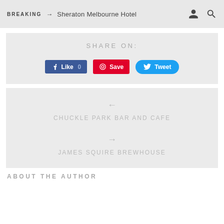BREAKING → Sheraton Melbourne Hotel
SHARE ON:
[Figure (screenshot): Social share buttons: Facebook Like 0, Pinterest Save, Twitter Tweet]
← Chuckle Park Bar and Cafe
→ James Squire Brewhouse
ABOUT THE AUTHOR